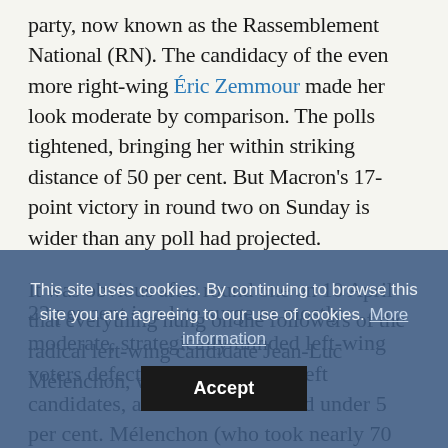party, now known as the Rassemblement National (RN). The candidacy of the even more right-wing Éric Zemmour made her look moderate by comparison. The polls tightened, bringing her within striking distance of 50 per cent. But Macron's 17-point victory in round two on Sunday is wider than any poll had projected.
It was obvious after round one on 10 April that everything hung on the followers of the radical left-wing candidate Jean-Luc Mélenchon, who reached 22 per cent in a late surge as mostly moderate, strategically minded left-wing voters defected from the other left candidates, all of whom finished under 5 per cent. Mélenchon (who took nearly 70 per cent of French Muslim ballots according to an Ifop poll) came close close to pipping Le Pen for
This site uses cookies. By continuing to browse this site you are agreeing to our use of cookies. More information
Accept